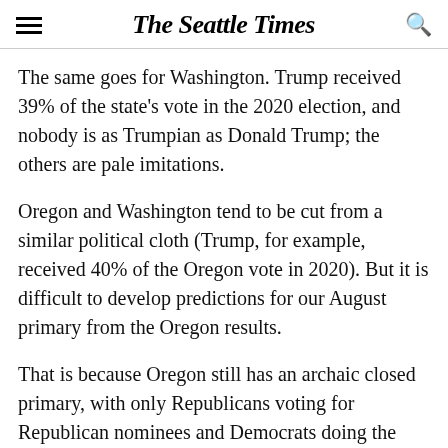The Seattle Times
The same goes for Washington. Trump received 39% of the state's vote in the 2020 election, and nobody is as Trumpian as Donald Trump; the others are pale imitations.
Oregon and Washington tend to be cut from a similar political cloth (Trump, for example, received 40% of the Oregon vote in 2020). But it is difficult to develop predictions for our August primary from the Oregon results.
That is because Oregon still has an archaic closed primary, with only Republicans voting for Republican nominees and Democrats doing the same on their side. Washington has a more